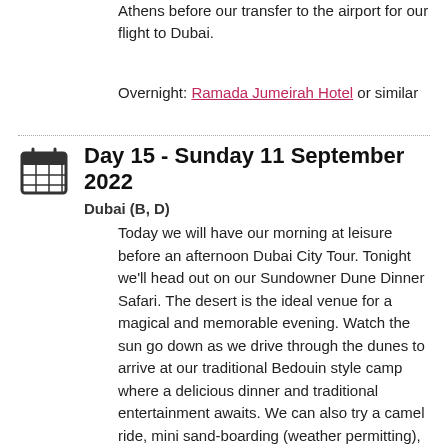Athens before our transfer to the airport for our flight to Dubai.
Overnight: Ramada Jumeirah Hotel or similar
Day 15 - Sunday 11 September 2022
Dubai (B, D)
Today we will have our morning at leisure before an afternoon Dubai City Tour.  Tonight we'll head out on our Sundowner Dune Dinner Safari.  The desert is the ideal venue for a magical and memorable evening.  Watch the sun go down as we drive through the dunes to arrive at our traditional Bedouin style camp where a delicious dinner and traditional entertainment awaits.  We can also try a camel ride, mini sand-boarding (weather permitting), henna hand painting and view a falcon.